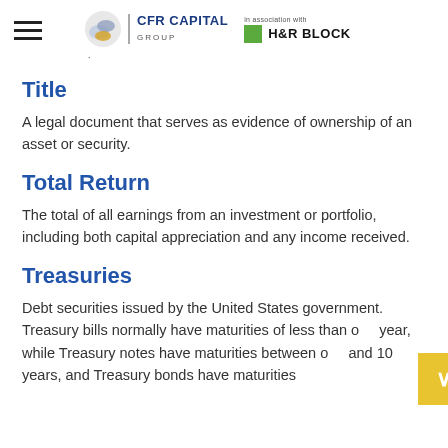CFR Capital Group — in association with H&R Block
Title
A legal document that serves as evidence of ownership of an asset or security.
Total Return
The total of all earnings from an investment or portfolio, including both capital appreciation and any income received.
Treasuries
Debt securities issued by the United States government. Treasury bills normally have maturities of less than one year, while Treasury notes have maturities between one and 10 years, and Treasury bonds have maturities